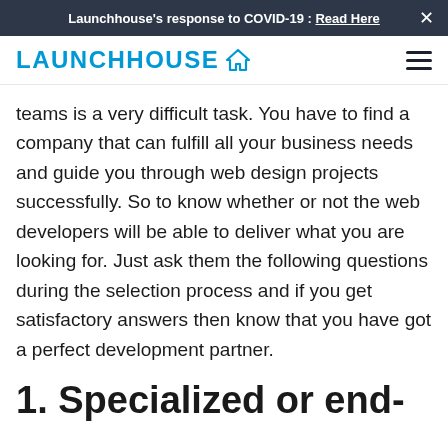Launchhouse's response to COVID-19 : Read Here
[Figure (logo): Launchhouse logo with house icon and hamburger menu icon]
teams is a very difficult task. You have to find a company that can fulfill all your business needs and guide you through web design projects successfully. So to know whether or not the web developers will be able to deliver what you are looking for. Just ask them the following questions during the selection process and if you get satisfactory answers then know that you have got a perfect development partner.
1. Specialized or end-